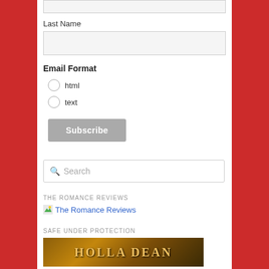Last Name
[input field: Last Name]
Email Format
html
text
Subscribe
Search
THE ROMANCE REVIEWS
The Romance Reviews
SAFE UNDER PROTECTION
[Figure (photo): Book cover image showing 'HOLLA DEAN' text in golden letters on a dark fiery background]